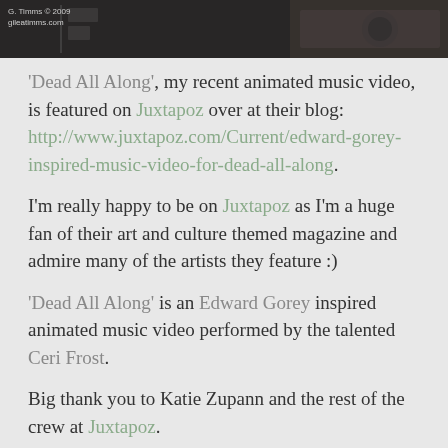[Figure (photo): Dark/black image at top of page, appears to be a decorative or artistic photograph. Overlay text reads 'G. Timms © 2009 gileatimms.com' with some graphic elements.]
'Dead All Along', my recent animated music video, is featured on Juxtapoz over at their blog: http://www.juxtapoz.com/Current/edward-gorey-inspired-music-video-for-dead-all-along.
I'm really happy to be on Juxtapoz as I'm a huge fan of their art and culture themed magazine and admire many of the artists they feature :)
'Dead All Along' is an Edward Gorey inspired animated music video performed by the talented Ceri Frost.
Big thank you to Katie Zupann and the rest of the crew at Juxtapoz.